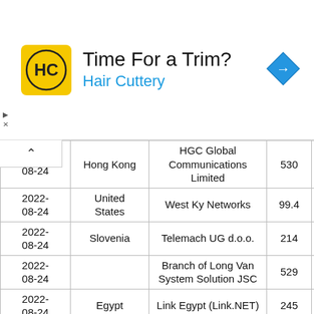[Figure (other): Advertisement banner for Hair Cuttery with logo, text 'Time For a Trim?' and 'Hair Cuttery', and a blue navigation arrow icon.]
| Date | Country | Organization | Number |  |
| --- | --- | --- | --- | --- |
| 2022-08-24 | Hong Kong | HGC Global Communications Limited | 530 |  |
| 2022-08-24 | United States | West Ky Networks | 99.4 |  |
| 2022-08-24 | Slovenia | Telemach UG d.o.o. | 214 |  |
| 2022-08-24 |  | Branch of Long Van System Solution JSC | 529 |  |
| 2022-08-24 | Egypt | Link Egypt (Link.NET) | 245 |  |